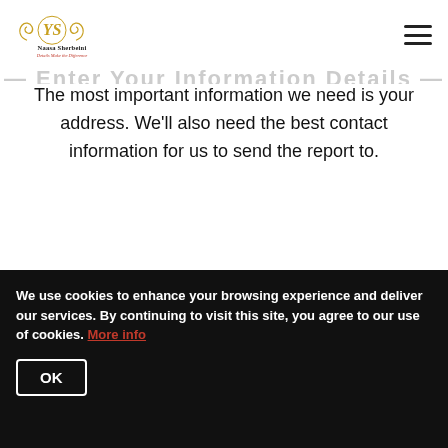[Figure (logo): Naasa Sherbeini logo with decorative script letters and tagline 'Details Make the Difference']
The most important information we need is your address. We'll also need the best contact information for us to send the report to.
[Figure (other): Partially visible form input fields: a text input box, a smaller gray button/input, and a small box on the right side]
We use cookies to enhance your browsing experience and deliver our services. By continuing to visit this site, you agree to our use of cookies. More info
OK